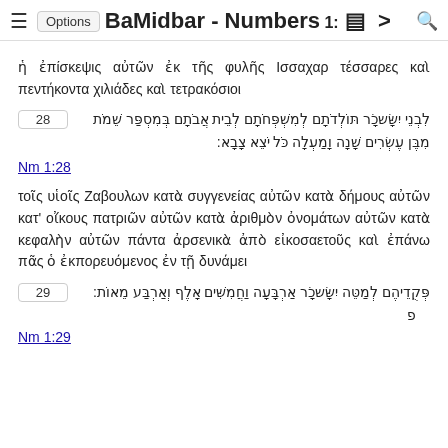≡ Options BaMidbar - Numbers 1: ≡ > 🔍
ἡ ἐπίσκεψις αὐτῶν ἐκ τῆς φυλῆς Ισσαχαρ τέσσαρες καὶ πεντήκοντα χιλιάδες καὶ τετρακόσιοι
28 לִבְנֵי יִשָּׂשכָׂר תּוֹלְדֹתָם לְמִשְׁפְּחֹתָם לְבֵית אֲבֹתָם בְּמִסְפַּר שֵׁמֹת מִבֶּן עֶשְׂרִים שָׁנָה וָמַעְלָה כֹּל יֹצֵא צָבָא:
Nm 1:28
τοῖς υἱοῖς Ζαβουλων κατὰ συγγενείας αὐτῶν κατὰ δήμους αὐτῶν κατ' οἴκους πατριῶν αὐτῶν κατὰ ἀριθμὸν ὀνομάτων αὐτῶν κατὰ κεφαλὴν αὐτῶν πάντα ἀρσενικὰ ἀπὸ εἰκοσαετοῦς καὶ ἐπάνω πᾶς ὁ ἐκπορευόμενος ἐν τῇ δυνάμει
29 פְּקֻדֵיהֶם לְמַטֵּה יִשָּׂשכָׂר אַרְבָּעָה וַחֲמִשִּׁים אָלֶף וְאַרְבַּע מֵאוֹת: פ
Nm 1:29